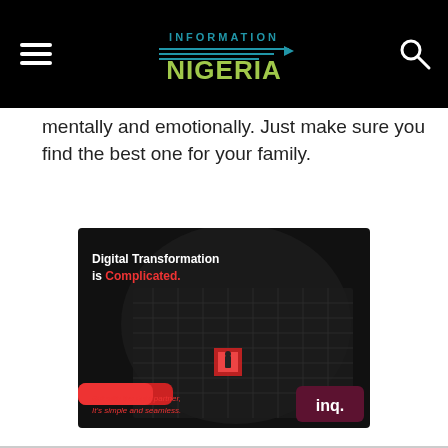Information Nigeria
mentally and emotionally. Just make sure you find the best one for your family.
[Figure (advertisement): INQ Digital Transformation advertisement. Dark background with maze image. Text reads: 'Digital Transformation is Complicated. But with the right partner, It's simple and seamless.' with INQ logo.]